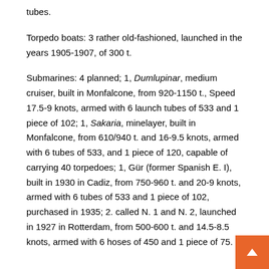tubes.
Torpedo boats: 3 rather old-fashioned, launched in the years 1905-1907, of 300 t.
Submarines: 4 planned; 1, Dumlupinar, medium cruiser, built in Monfalcone, from 920-1150 t., Speed 17.5-9 knots, armed with 6 launch tubes of 533 and 1 piece of 102; 1, Sakaria, minelayer, built in Monfalcone, from 610/940 t. and 16-9.5 knots, armed with 6 tubes of 533, and 1 piece of 120, capable of carrying 40 torpedoes; 1, Gür (former Spanish E. I), built in 1930 in Cadiz, from 750-960 t. and 20-9 knots, armed with 6 tubes of 533 and 1 piece of 102, purchased in 1935; 2. called N. 1 and N. 2, launched in 1927 in Rotterdam, from 500-600 t. and 14.5-8.5 knots, armed with 6 hoses of 450 and 1 piece of 75.